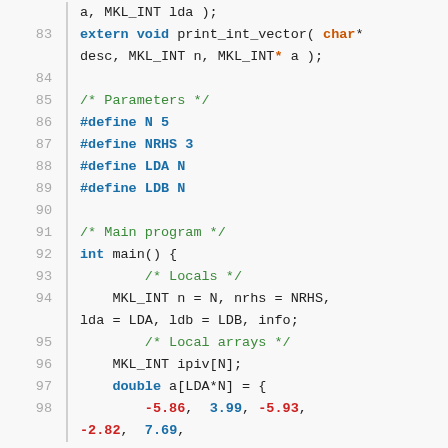Code listing lines 83-98: C source code using MKL_INT types, preprocessor defines, and main function with local arrays
83: extern void print_int_vector( char* desc, MKL_INT n, MKL_INT* a );
84: (blank)
85: /* Parameters */
86: #define N 5
87: #define NRHS 3
88: #define LDA N
89: #define LDB N
90: (blank)
91: /* Main program */
92: int main() {
93:     /* Locals */
94:     MKL_INT n = N, nrhs = NRHS, lda = LDA, ldb = LDB, info;
95:     /* Local arrays */
96:     MKL_INT ipiv[N];
97:     double a[LDA*N] = {
98:         -5.86,  3.99, -5.93, -2.82,  7.69,